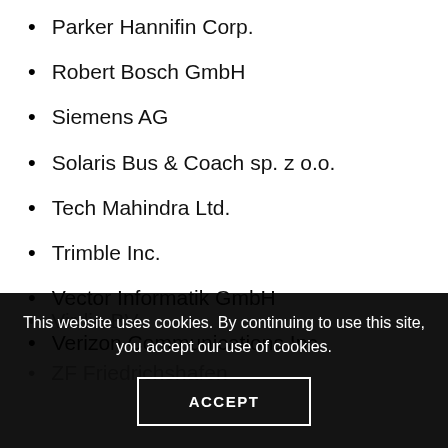Parker Hannifin Corp.
Robert Bosch GmbH
Siemens AG
Solaris Bus & Coach sp. z o.o.
Tech Mahindra Ltd.
Trimble Inc.
Vector Informatik GmbH
Verizon Communications Inc.
Virdia BV
ZF Friedrichshafen
This website uses cookies. By continuing to use this site, you accept our use of cookies.
ACCEPT